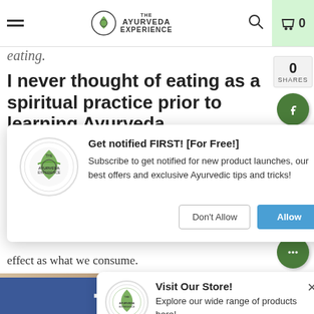The Ayurveda Experience
eating.
I never thought of eating as a spiritual practice prior to learning Ayurveda
effect as what we consume.
[Figure (screenshot): Notification popup: 'Get notified FIRST! [For Free!] Subscribe to get notified for new product launches, our best offers and exclusive Ayurvedic tips and tricks!' with Don't Allow and Allow buttons, featuring The Ayurveda Experience logo]
[Figure (screenshot): Store popup: 'Visit Our Store! Explore our wide range of products here!' with The Ayurveda Experience logo and X close button]
[Figure (infographic): Social sharing sidebar with 0 shares count, and Facebook, Twitter, Instagram, YouTube circular green buttons]
[Figure (photo): Article image showing hands (Ayurveda massage or treatment)]
[Figure (infographic): Bottom share bar with Facebook and Twitter share buttons]